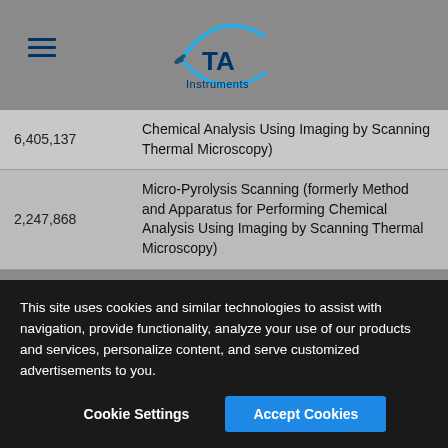[Figure (logo): TA Instruments logo with hamburger menu icon on the left]
| 6,405,137 | Chemical Analysis Using Imaging by Scanning Thermal Microscopy) |
| 2,247,868 | Micro-Pyrolysis Scanning (formerly Method and Apparatus for Performing Chemical Analysis Using Imaging by Scanning Thermal Microscopy) |
This site uses cookies and similar technologies to assist with navigation, provide functionality, analyze your use of our products and services, personalize content, and serve customized advertisements to you.
Cookie Settings   Accept Cookies